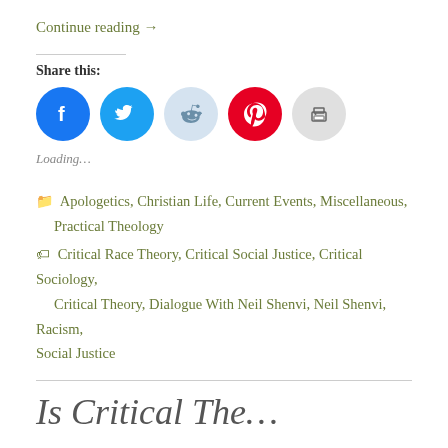Continue reading →
Share this:
[Figure (other): Social share icons: Facebook (blue circle), Twitter (blue circle), Reddit (light blue circle), Pinterest (red circle), Print (gray circle)]
Loading…
Apologetics, Christian Life, Current Events, Miscellaneous, Practical Theology
Critical Race Theory, Critical Social Justice, Critical Sociology, Critical Theory, Dialogue With Neil Shenvi, Neil Shenvi, Racism, Social Justice
Is Critical The…